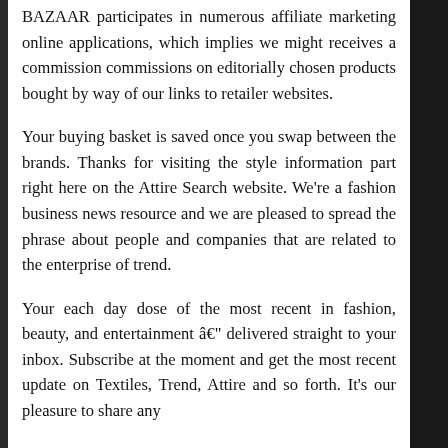BAZAAR participates in numerous affiliate marketing online applications, which implies we might receives a commission commissions on editorially chosen products bought by way of our links to retailer websites.
Your buying basket is saved once you swap between the brands. Thanks for visiting the style information part right here on the Attire Search website. We’re a fashion business news resource and we are pleased to spread the phrase about people and companies that are related to the enterprise of trend.
Your each day dose of the most recent in fashion, beauty, and entertainment â€” delivered straight to your inbox. Subscribe at the moment and get the most recent update on Textiles, Trend, Attire and so forth. It’s our pleasure to share any